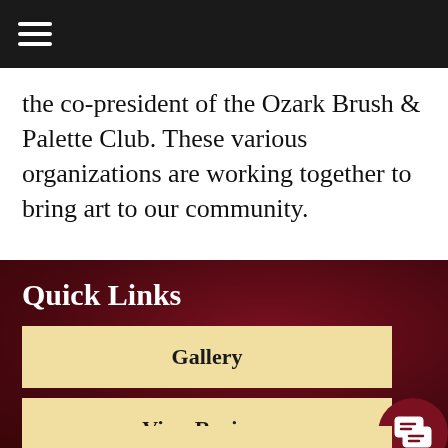Navigation menu header bar
the co-president of the Ozark Brush & Palette Club. These various organizations are working together to bring art to our community.
Quick Links
Gallery
View Reviews